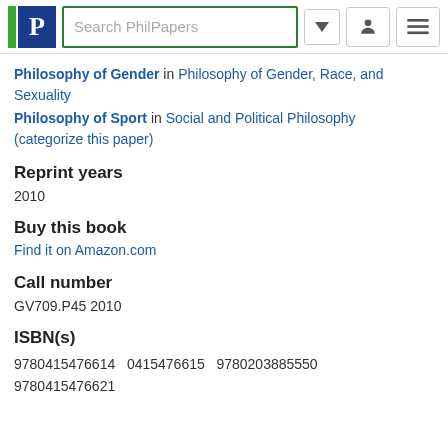Search PhilPapers
Philosophy of Gender in Philosophy of Gender, Race, and Sexuality
Philosophy of Sport in Social and Political Philosophy
(categorize this paper)
Reprint years
2010
Buy this book
Find it on Amazon.com
Call number
GV709.P45 2010
ISBN(s)
9780415476614   0415476615   9780203885550
9780415476621